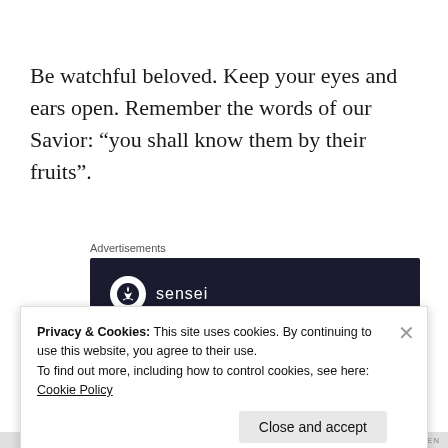Be watchful beloved. Keep your eyes and ears open. Remember the words of our Savior: “you shall know them by their fruits”.
Advertisements
[Figure (logo): Sensei advertisement banner with dark navy background, sensei logo with bonsai tree icon, and teal italic text beginning 'Launch your online']
Privacy & Cookies: This site uses cookies. By continuing to use this website, you agree to their use.
To find out more, including how to control cookies, see here: Cookie Policy
Close and accept